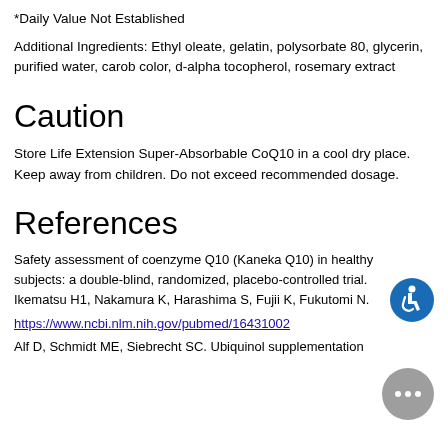*Daily Value Not Established
Additional Ingredients: Ethyl oleate, gelatin, polysorbate 80, glycerin, purified water, carob color, d-alpha tocopherol, rosemary extract
Caution
Store Life Extension Super-Absorbable CoQ10 in a cool dry place. Keep away from children. Do not exceed recommended dosage.
References
Safety assessment of coenzyme Q10 (Kaneka Q10) in healthy subjects: a double-blind, randomized, placebo-controlled trial. Ikematsu H1, Nakamura K, Harashima S, Fujii K, Fukutomi N.
https://www.ncbi.nlm.nih.gov/pubmed/16431002
Alf D, Schmidt ME, Siebrecht SC. Ubiquinol supplementation